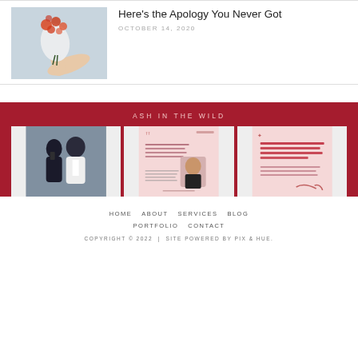[Figure (photo): Blog post thumbnail: hand holding a bouquet of orange/red flowers wrapped in white paper against a light background]
Here's the Apology You Never Got
OCTOBER 14, 2020
ASH IN THE WILD
[Figure (photo): Instagram grid photo 1: two people posing for a mirror selfie at what appears to be a formal event]
[Figure (photo): Instagram grid image 2: pink-themed graphic with a quote about pre-launch content for digital product launches]
[Figure (photo): Instagram grid image 3: pink graphic with text 'Why your pre-launch content needs to do MORE than build hype' and a signature]
HOME   ABOUT   SERVICES   BLOG
PORTFOLIO   CONTACT
COPYRIGHT © 2022  |  SITE POWERED BY PIX & HUE.